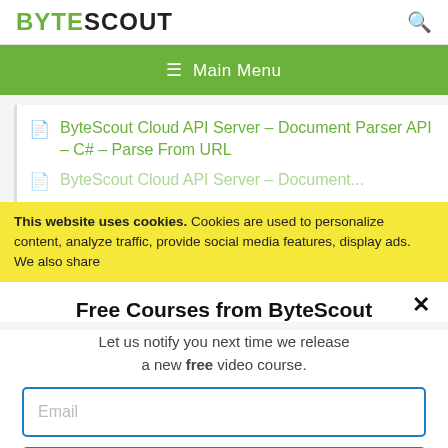BYTESCOUT
[Figure (screenshot): Green navigation bar with hamburger icon and Main Menu text]
ByteScout Cloud API Server – Document Parser API – C# – Parse From URL
ByteScout Cloud API Server – Document...
This website uses cookies. Cookies are used to personalize content, analyze traffic, provide social media features, display ads. We also share
Free Courses from ByteScout
Let us notify you next time we release a new free video course.
Email
SUBSCRIBE